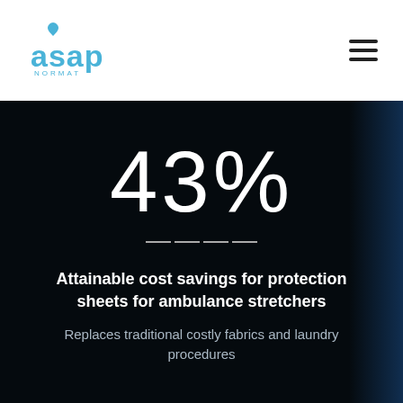[Figure (logo): ASAP Normat logo in blue with water drop accent above the letter 'a']
43%
Attainable cost savings for protection sheets for ambulance stretchers
Replaces traditional costly fabrics and laundry procedures